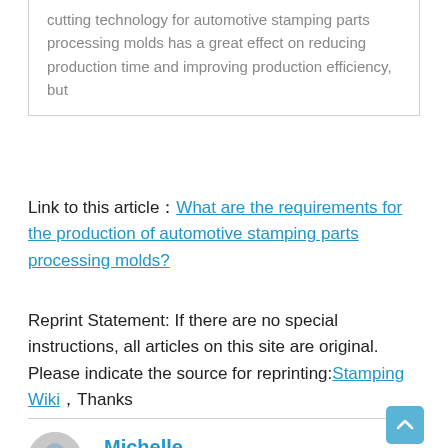cutting technology for automotive stamping parts processing molds has a great effect on reducing production time and improving production efficiency, but
Link to this article：What are the requirements for the production of automotive stamping parts processing molds?
Reprint Statement: If there are no special instructions, all articles on this site are original. Please indicate the source for reprinting:Stamping Wiki，Thanks
Michelle